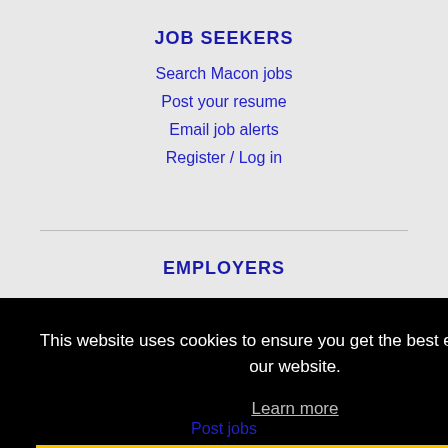JOB SEEKERS
Search Macon jobs
Post your resume
Email job alerts
Register / Log in
EMPLOYERS
This website uses cookies to ensure you get the best experience on our website.
Learn more
Got it!
Post jobs